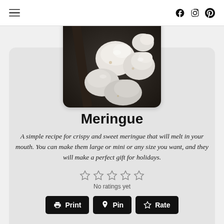Navigation menu and social icons (Facebook, Instagram, Pinterest)
[Figure (photo): Close-up photo of white meringue cookies piled together with dark sticks, on a dark background]
Meringue
A simple recipe for crispy and sweet meringue that will melt in your mouth. You can make them large or mini or any size you want, and they will make a perfect gift for holidays.
No ratings yet
Print  Pin  Rate